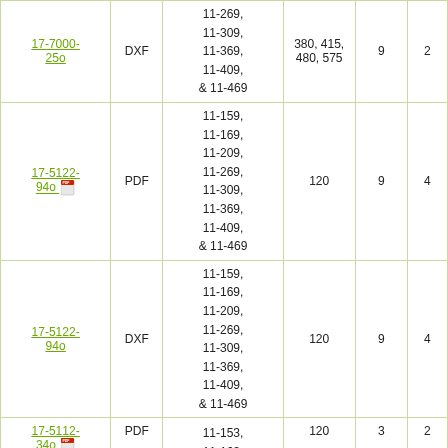| 17-7000-25o | DXF | 11-269, 11-309, 11-369, 11-409, & 11-469 | 380, 415, 480, 575 | 9 | 2 |
| 17-5122-94o | PDF | 11-159, 11-169, 11-209, 11-269, 11-309, 11-369, 11-409, & 11-469 | 120 | 9 | 4 |
| 17-5122-94o | DXF | 11-159, 11-169, 11-209, 11-269, 11-309, 11-369, 11-409, & 11-469 | 120 | 9 | 4 |
| 17-5112-34o | PDF | 11-153, 11-163, 11-203, 11-263, ... | 120 | 3 | 2 |